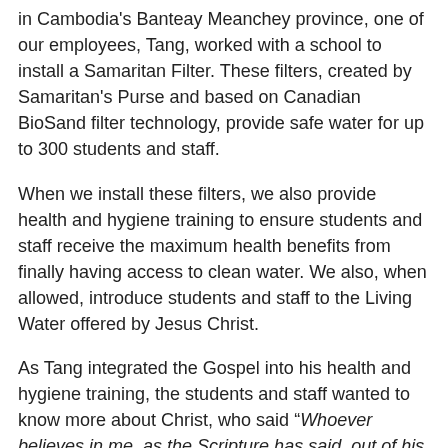in Cambodia's Banteay Meanchey province, one of our employees, Tang, worked with a school to install a Samaritan Filter. These filters, created by Samaritan's Purse and based on Canadian BioSand filter technology, provide safe water for up to 300 students and staff.
When we install these filters, we also provide health and hygiene training to ensure students and staff receive the maximum health benefits from finally having access to clean water. We also, when allowed, introduce students and staff to the Living Water offered by Jesus Christ.
As Tang integrated the Gospel into his health and hygiene training, the students and staff wanted to know more about Christ, who said “Whoever believes in me, as the Scripture has said, out of his heart will flow rivers of living water” (John 7:38, ESV).